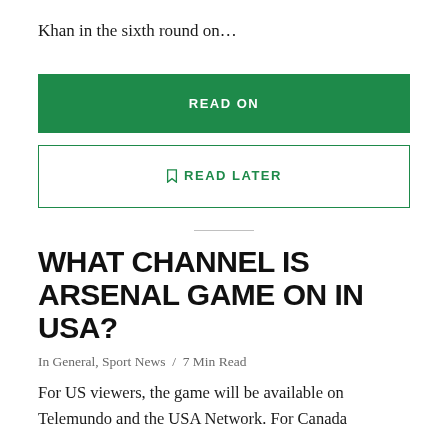Khan in the sixth round on…
READ ON
READ LATER
WHAT CHANNEL IS ARSENAL GAME ON IN USA?
In General, Sport News  /  7 Min Read
For US viewers, the game will be available on Telemundo and the USA Network. For Canada